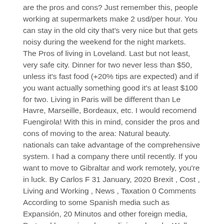are the pros and cons? Just remember this, people working at supermarkets make 2 usd/per hour. You can stay in the old city that's very nice but that gets noisy during the weekend for the night markets. The Pros of living in Loveland. Last but not least, very safe city. Dinner for two never less than $50, unless it's fast food (+20% tips are expected) and if you want actually something good it's at least $100 for two. Living in Paris will be different than Le Havre, Marseille, Bordeaux, etc. I would recomend Fuengirola! With this in mind, consider the pros and cons of moving to the area: Natural beauty. nationals can take advantage of the comprehensive system. I had a company there until recently. If you want to move to Gibraltar and work remotely, you're in luck. By Carlos F 31 January, 2020 Brexit , Cost , Living and Working , News , Taxation 0 Comments According to some Spanish media such as Expansión, 20 Minutos and other foreign media, Portugal has enjoyed a prodigious decade. Well connected by train for the rest of England